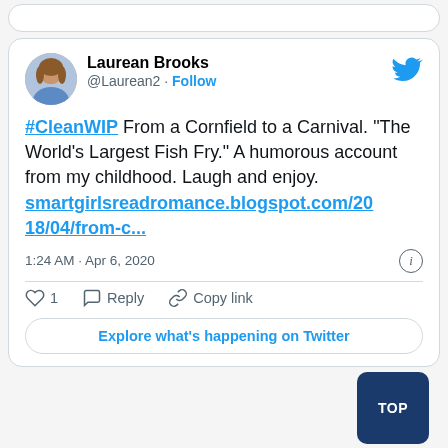[Figure (screenshot): Twitter/X card stub at top of page (partially visible, cropped)]
[Figure (screenshot): Tweet card from Laurean Brooks (@Laurean2) with Twitter bird logo, profile photo, tweet text about #CleanWIP and a blog link, timestamp 1:24 AM Apr 6 2020, like/reply/copy link actions, and Explore what's happening on Twitter button]
Laurean Brooks
@Laurean2 · Follow
#CleanWIP From a Cornfield to a Carnival. "The World's Largest Fish Fry." A humorous account from my childhood. Laugh and enjoy. smartgirlsreadromance.blogspot.com/2018/04/from-c...
1:24 AM · Apr 6, 2020
1
Reply
Copy link
Explore what's happening on Twitter
TOP